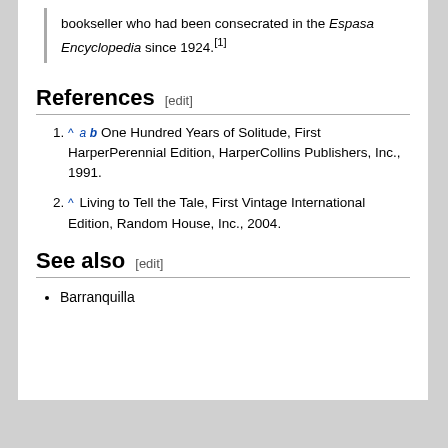bookseller who had been consecrated in the Espasa Encyclopedia since 1924.[1]
References [edit]
^ a b One Hundred Years of Solitude, First HarperPerennial Edition, HarperCollins Publishers, Inc., 1991.
^ Living to Tell the Tale, First Vintage International Edition, Random House, Inc., 2004.
See also [edit]
Barranquilla